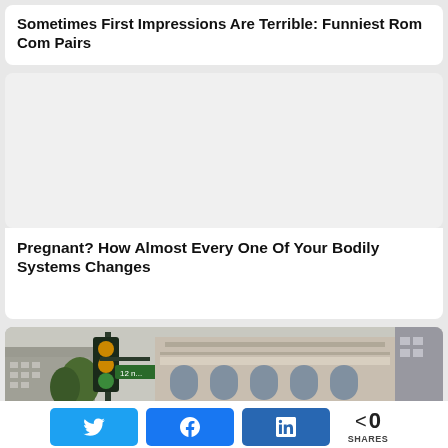Sometimes First Impressions Are Terrible: Funniest Rom Com Pairs
[Figure (other): White/light gray placeholder image area for article about pregnancy and bodily systems]
Pregnant? How Almost Every One Of Your Bodily Systems Changes
[Figure (photo): Street photo of a city intersection with traffic lights and a historic ornate building facade in the background]
0 SHARES — Twitter share button, Facebook share button, LinkedIn share button